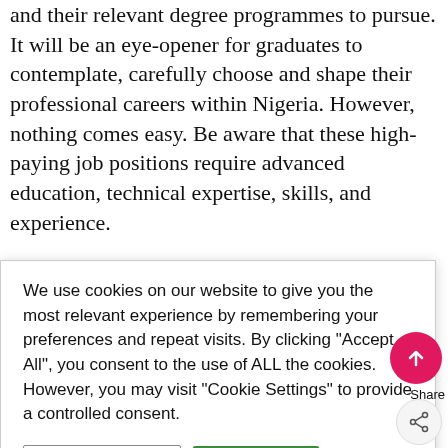and their relevant degree programmes to pursue. It will be an eye-opener for graduates to contemplate, carefully choose and shape their professional careers within Nigeria. However, nothing comes easy. Be aware that these high-paying job positions require advanced education, technical expertise, skills, and experience.
We use cookies on our website to give you the most relevant experience by remembering your preferences and repeat visits. By clicking "Accept All", you consent to the use of ALL the cookies. However, you may visit "Cookie Settings" to provide a controlled consent.
...ggling with ...of the ...thrive and ...to join ...s are ...ultinationa ...ry's ...nis CNN ...il producer, with fossil fuels accounting for